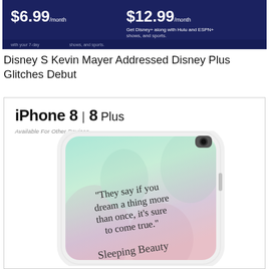[Figure (screenshot): Screenshot of a Disney+ subscription pricing banner showing $6.99/month on the left and $12.99/month on the right with text 'Get Disney+ along with Hulu and ESPN+' and partial text about 7-day trial and shows and sports.]
Disney S Kevin Mayer Addressed Disney Plus Glitches Debut
[Figure (photo): Product listing for an iPhone 8 | 8 Plus phone case featuring a Sleeping Beauty quote in cursive script: 'They say if you dream a thing more than once, it's sure to come true.' on a pastel mint-to-pink gradient background with floral motifs. The text 'Available For Other Devices' appears below the model line. 'Sleeping Beauty' is written in cursive at the bottom of the case.]